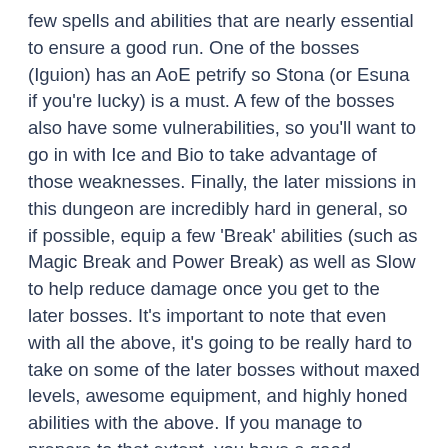few spells and abilities that are nearly essential to ensure a good run. One of the bosses (Iguion) has an AoE petrify so Stona (or Esuna if you're lucky) is a must. A few of the bosses also have some vulnerabilities, so you'll want to go in with Ice and Bio to take advantage of those weaknesses. Finally, the later missions in this dungeon are incredibly hard in general, so if possible, equip a few 'Break' abilities (such as Magic Break and Power Break) as well as Slow to help reduce damage once you get to the later bosses. It's important to note that even with all the above, it's going to be really hard to take on some of the later bosses without maxed levels, awesome equipment, and highly honed abilities with the above. If you manage to prepare to that extent, you have a good chance.
Boss Tips